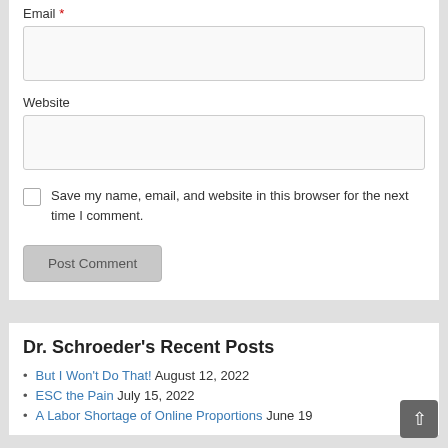Email *
[Figure (other): Email input text field (empty, light grey background)]
Website
[Figure (other): Website input text field (empty, light grey background)]
Save my name, email, and website in this browser for the next time I comment.
Post Comment
Dr. Schroeder's Recent Posts
But I Won't Do That! August 12, 2022
ESC the Pain July 15, 2022
A Labor Shortage of Online Proportions June 19